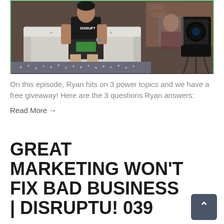[Figure (photo): A person sitting on a white couch/sofa holding something, with camera equipment visible on the right side. There appears to be a metallic surface in the foreground. The image has a green border around it.]
On this episode, Ryan hits on 3 power topics and we have a free giveaway! Here are the 3 questions Ryan answers:
Read More →
GREAT MARKETING WON'T FIX BAD BUSINESS | DISRUPTu! 039